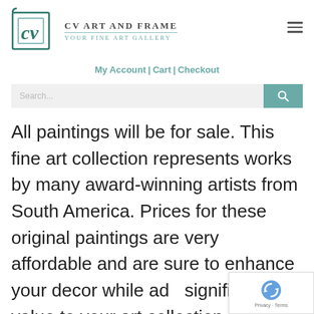[Figure (logo): CV Art and Frame logo with stylized CV letters in a frame, teal/dark green color scheme]
CV Art and Frame
Your Fine Art Gallery
My Account | Cart | Checkout
Search...
All paintings will be for sale. This fine art collection represents works by many award-winning artists from South America. Prices for these original paintings are very affordable and are sure to enhance your decor while ad significant value to your art collection